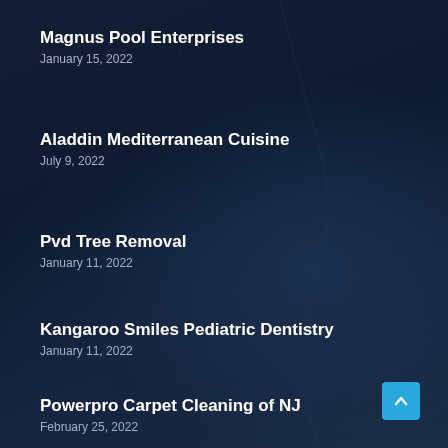Magnus Pool Enterprises
January 15, 2022
Aladdin Mediterranean Cuisine
July 9, 2022
Pvd Tree Removal
January 11, 2022
Kangaroo Smiles Pediatric Dentistry
January 11, 2022
Powerpro Carpet Cleaning of NJ
February 25, 2022